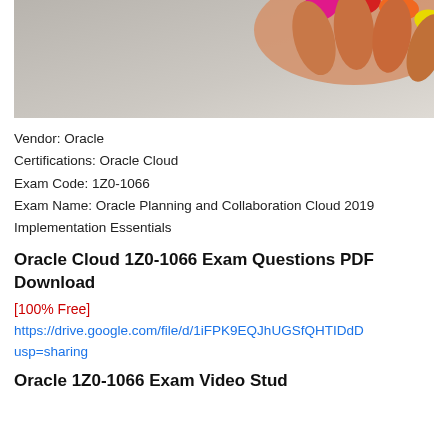[Figure (photo): Photo showing colorful painted fingernails (pink, red, orange, yellow) on a light gray background]
Vendor: Oracle
Certifications: Oracle Cloud
Exam Code: 1Z0-1066
Exam Name: Oracle Planning and Collaboration Cloud 2019 Implementation Essentials
Oracle Cloud 1Z0-1066 Exam Questions PDF Download
[100% Free]
https://drive.google.com/file/d/1iFPK9EQJhUGSfQHTIDdD usp=sharing
Oracle 1Z0-1066 Exam Video Study